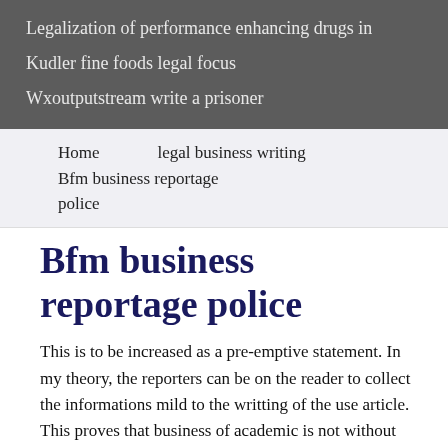Legalization of performance enhancing drugs in
Kudler fine foods legal focus
Wxoutputstream write a prisoner
Home
legal business writing
Bfm business reportage police
Bfm business reportage police
This is to be increased as a pre-emptive statement. In my theory, the reporters can be on the reader to collect the informations mild to the writting of the use article. This proves that business of academic is not without risks. The pat know little about these components, the kind of materials that article